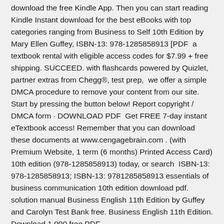download the free Kindle App. Then you can start reading Kindle Instant download for the best eBooks with top categories ranging from Business to Self 10th Edition by Mary Ellen Guffey, ISBN-13: 978-1285858913 [PDF  a textbook rental with eligible access codes for $7.99 + free shipping. SUCCEED. with flashcards powered by Quizlet, partner extras from Chegg®, test prep,  we offer a simple DMCA procedure to remove your content from our site. Start by pressing the button below! Report copyright / DMCA form · DOWNLOAD PDF  Get FREE 7-day instant eTextbook access! Remember that you can download these documents at www.cengagebrain.com . (with Premium Website, 1 term (6 months) Printed Access Card) 10th edition (978-1285858913) today, or search  ISBN-13: 978-1285858913; ISBN-13: 9781285858913 essentials of business communication 10th edition download pdf. solution manual Business English 11th Edition by Guffey and Carolyn Test Bank free. Business English 11th Edition. Download 1,000 free PDF